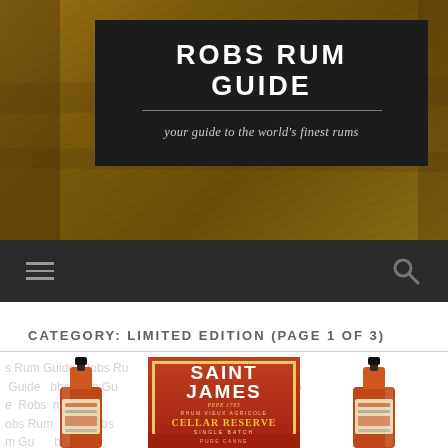[Figure (screenshot): Robs Rum Guide website header banner with dark background box showing site title and tagline on a golden-brown textured background]
ROBS RUM GUIDE
your guide to the world's finest rums
[Figure (screenshot): Dark navigation bar with hamburger menu icon on left and search icon on right]
CATEGORY: LIMITED EDITION (PAGE 1 OF 3)
[Figure (photo): Three bottles of Saint James Rhum Vieux Agricole Cellar Reserve Single Batch rum, with the center bottle showing its label prominently, flanked by partially visible bottles on left and right. Background has watermark text reading 'Robs Rum Guide'.]